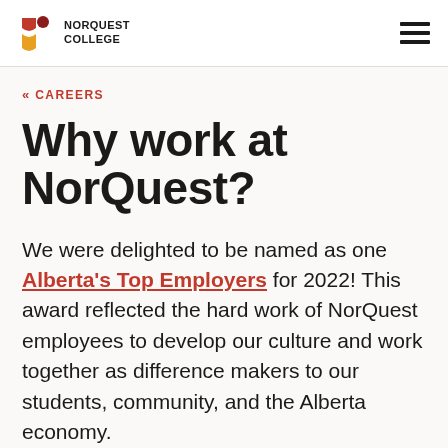NORQUEST COLLEGE
« CAREERS
Why work at NorQuest?
We were delighted to be named as one Alberta's Top Employers for 2022! This award reflected the hard work of NorQuest employees to develop our culture and work together as difference makers to our students, community, and the Alberta economy.
A career at NorQuest College allows you the